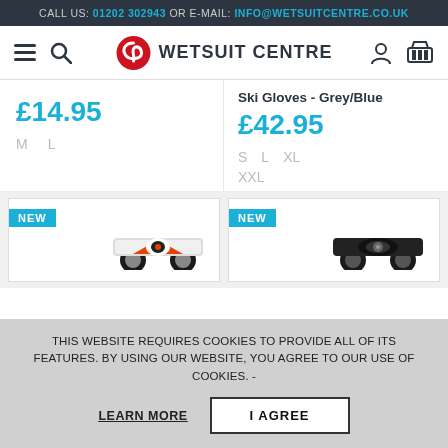CALL US: 01202 302943 OR E-MAIL: INFO@WETSUITCENTRE.CO.UK
[Figure (logo): Wetsuit Centre logo with red swirl icon and bold text WETSUIT CENTRE, plus hamburger menu, search icon, user icon, and cart icon in navigation bar]
£14.95
M    L
Ski Gloves - Grey/Blue
£42.95
S    L    XL
XXL
[Figure (photo): Product card with NEW badge showing a colorful skateboard (orange/white/black design) from below]
[Figure (photo): Product card with NEW badge showing a black skateboard from below]
THIS WEBSITE REQUIRES COOKIES TO PROVIDE ALL OF ITS FEATURES. BY USING OUR WEBSITE, YOU AGREE TO OUR USE OF COOKIES. -
LEARN MORE
I AGREE